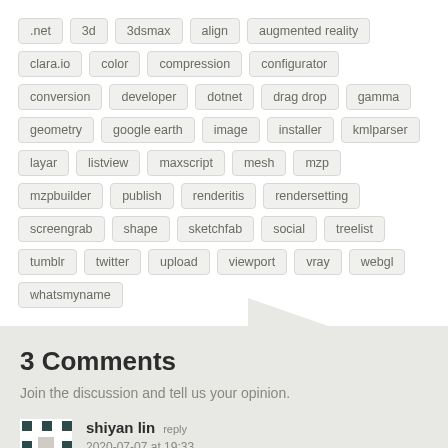.net, 3d, 3dsmax, align, augmented reality, clara.io, color, compression, configurator, conversion, developer, dotnet, drag drop, gamma, geometry, google earth, image, installer, kmlparser, layar, listview, maxscript, mesh, mzp, mzpbuilder, publish, renderitis, rendersetting, screengrab, shape, sketchfab, social, treelist, tumblr, twitter, upload, viewport, vray, webgl, whatsmyname
3 Comments
Join the discussion and tell us your opinion.
shiyan lin reply
2020-07-07 at 19:33